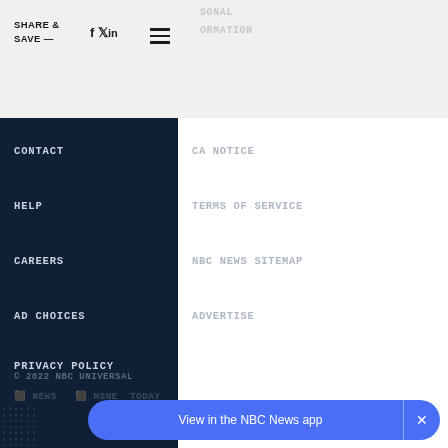SHARE & SAVE — [social icons] [hamburger menu] SONAL ORMATION
CONTACT
CA NOTICE
HELP
TERMS OF SERVICE
CAREERS
NBC NEWS SITEMAP
AD CHOICES
ADVERTISE
PRIVACY POLICY
© 2022 NBC UNIVERSAL
NBC NEWS   MSNBC   TODAY
View in the NBC News app  ×